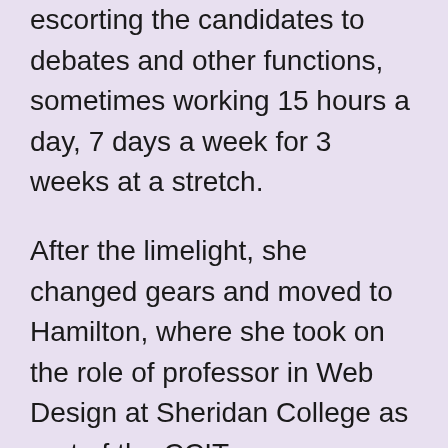escorting the candidates to debates and other functions, sometimes working 15 hours a day, 7 days a week for 3 weeks at a stretch.
After the limelight, she changed gears and moved to Hamilton, where she took on the role of professor in Web Design at Sheridan College as part of the CCIT program, a joint venture with the University of Toronto at Mississauga. There, she taught all three levels of web design, developing the curriculum for all of them, as well as creating the Capstone course for final year students. She was also responsible for developing and teaching